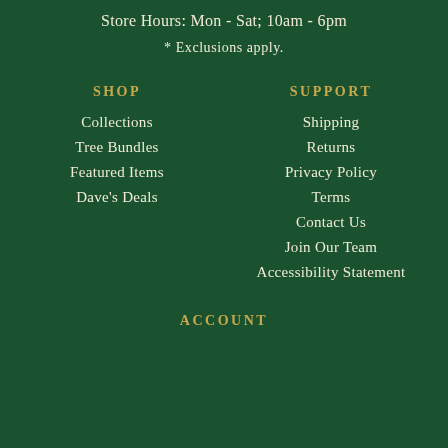Store Hours: Mon - Sat; 10am - 6pm
* Exclusions apply.
SHOP
Collections
Tree Bundles
Featured Items
Dave's Deals
SUPPORT
Shipping
Returns
Privacy Policy
Terms
Contact Us
Join Our Team
Accessibility Statement
ACCOUNT